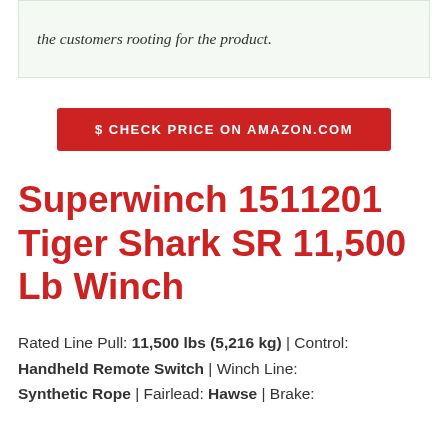the customers rooting for the product.
$ CHECK PRICE ON AMAZON.COM
Superwinch 1511201 Tiger Shark SR 11,500 Lb Winch
Rated Line Pull: 11,500 lbs (5,216 kg) | Control: Handheld Remote Switch | Winch Line: Synthetic Rope | Fairlead: Hawse | Brake: